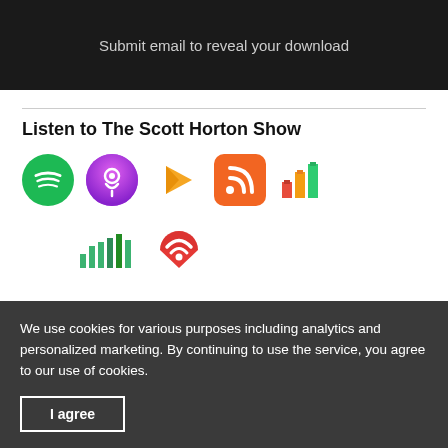Submit email to reveal your download
Listen to The Scott Horton Show
[Figure (illustration): Row of podcast platform icons: Spotify (green circle), Apple Podcasts (purple circle with music note), Google Play (orange triangle play button), RSS feed (orange square with wifi icon), and a colorful bar chart icon]
[Figure (illustration): Second row of podcast platform icons: Deezer (green equalizer bars), iHeartRadio (red heart with wifi waves)]
We use cookies for various purposes including analytics and personalized marketing. By continuing to use the service, you agree to our use of cookies.
I agree